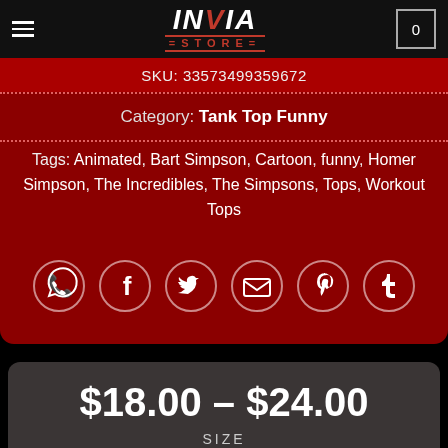INVIA STORE — Navigation header with logo, hamburger menu, and cart
SKU: 33573499359672
Category: Tank Top Funny
Tags: Animated, Bart Simpson, Cartoon, funny, Homer Simpson, The Incredibles, The Simpsons, Tops, Workout Tops
[Figure (infographic): Social share icons: WhatsApp, Facebook, Twitter, Email, Pinterest, Tumblr]
$18.00 – $24.00
SIZE
Choose an option
COLORS